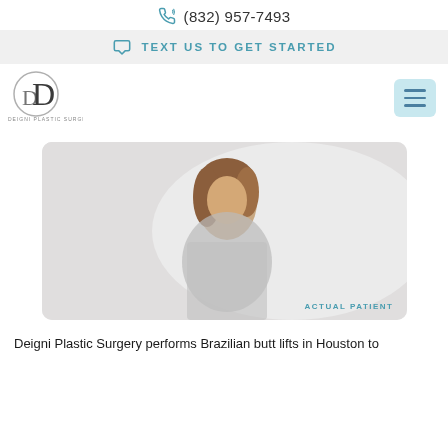(832) 957-7493
TEXT US TO GET STARTED
[Figure (logo): Deigni Plastic Surgery logo — circular D letterform with smaller D inside, and text DEIGNI PLASTIC SURGERY below]
[Figure (photo): Woman with brown hair smiling, wearing a grey snake-print fitted top, posing with hand on hip against a light background. Label: ACTUAL PATIENT]
Deigni Plastic Surgery performs Brazilian butt lifts in Houston to